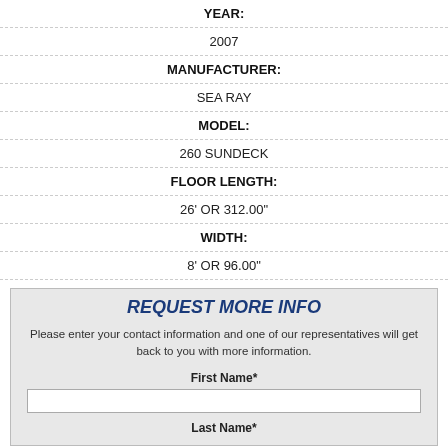| YEAR: |
| 2007 |
| MANUFACTURER: |
| SEA RAY |
| MODEL: |
| 260 SUNDECK |
| FLOOR LENGTH: |
| 26' OR 312.00" |
| WIDTH: |
| 8' OR 96.00" |
REQUEST MORE INFO
Please enter your contact information and one of our representatives will get back to you with more information.
First Name*
Last Name*